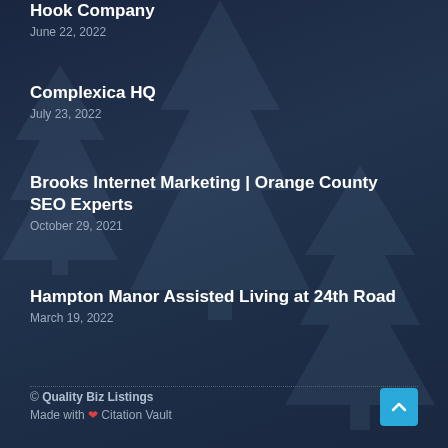Hook Company
June 22, 2022
Complexica HQ
July 23, 2022
Brooks Internet Marketing | Orange County SEO Experts
October 29, 2021
Hampton Manor Assisted Living at 24th Road
March 19, 2022
© Quality Biz Listings
Made with ❤ Citation Vault